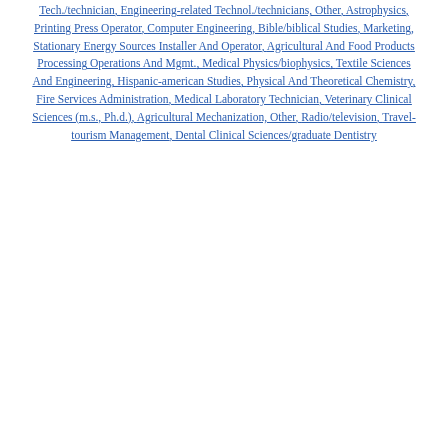Tech./technician, Engineering-related Technol./technicians, Other, Astrophysics, Printing Press Operator, Computer Engineering, Bible/biblical Studies, Marketing, Stationary Energy Sources Installer And Operator, Agricultural And Food Products Processing Operations And Mgmt., Medical Physics/biophysics, Textile Sciences And Engineering, Hispanic-american Studies, Physical And Theoretical Chemistry, Fire Services Administration, Medical Laboratory Technician, Veterinary Clinical Sciences (m.s., Ph.d.), Agricultural Mechanization, Other, Radio/television, Travel-tourism Management, Dental Clinical Sciences/graduate Dentistry